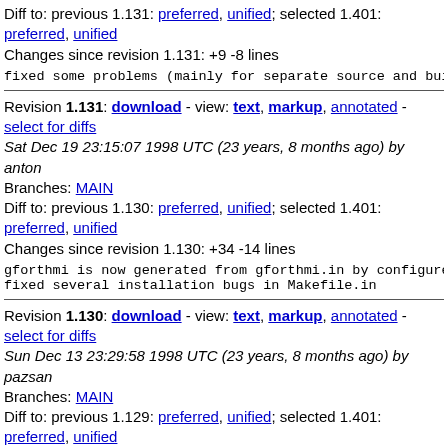Diff to: previous 1.131: preferred, unified; selected 1.401: preferred, unified
Changes since revision 1.131: +9 -8 lines
fixed some problems (mainly for separate source and build...
Revision 1.131: download - view: text, markup, annotated - select for diffs
Sat Dec 19 23:15:07 1998 UTC (23 years, 8 months ago) by anton
Branches: MAIN
Diff to: previous 1.130: preferred, unified; selected 1.401: preferred, unified
Changes since revision 1.130: +34 -14 lines
gforthmi is now generated from gforthmi.in by configure
fixed several installation bugs in Makefile.in
Revision 1.130: download - view: text, markup, annotated - select for diffs
Sun Dec 13 23:29:58 1998 UTC (23 years, 8 months ago) by pazsan
Branches: MAIN
Diff to: previous 1.129: preferred, unified; selected 1.401: preferred, unified
Changes since revision 1.129: +7 -4 lines